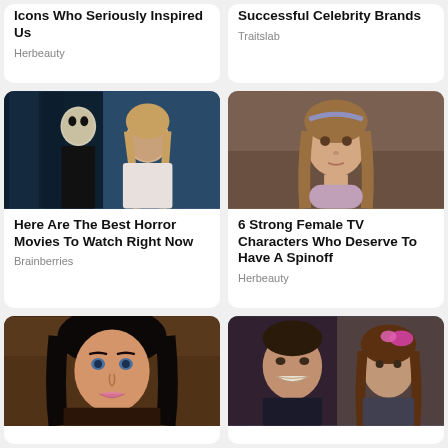Icons Who Seriously Inspired Us
Herbeauty
Successful Celebrity Brands
Traitslab
[Figure (photo): Two people in a horror movie scene, one wearing a mask and one woman in white dress]
Here Are The Best Horror Movies To Watch Right Now
Brainberries
[Figure (photo): Young girl with brown hair wearing a pink/purple top, looking serious]
6 Strong Female TV Characters Who Deserve To Have A Spinoff
Herbeauty
[Figure (photo): Woman with dark hair and blue eyes looking at camera]
[Figure (photo): Man smiling and young girl with pink bow in hair]